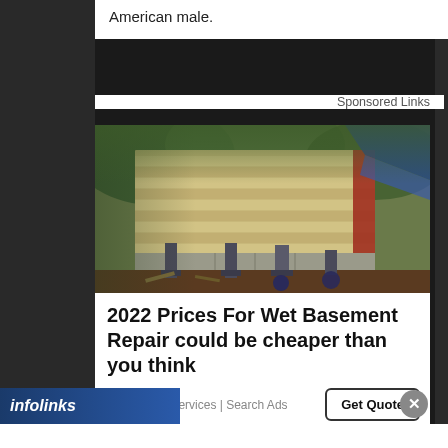American male.
Sponsored Links
[Figure (photo): Photo of a house foundation repair showing wooden siding lifted, concrete blocks/piers, and hydraulic jacks underneath the structure with dirt ground visible]
2022 Prices For Wet Basement Repair could be cheaper than you think
Foundation Services | Search Ads
Get Quote
infolinks